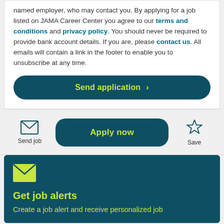named employer, who may contact you. By applying for a job listed on JAMA Career Center you agree to our terms and conditions and privacy policy. You should never be required to provide bank account details. If you are, please contact us. All emails will contain a link in the footer to enable you to unsubscribe at any time.
Send application ›
Send job
Apply now
Save
Get job alerts
Create a job alert and receive personalized job